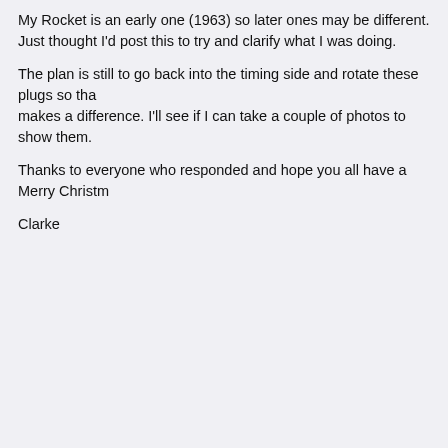My Rocket is an early one (1963) so later ones may be different. Just thought I'd post this to try and clarify what I was doing.

The plan is still to go back into the timing side and rotate these plugs so tha makes a difference. I'll see if I can take a couple of photos to show them.

Thanks to everyone who responded and hope you all have a Merry Christm

Clarke
13
Twins / Re: A65 Rocket gearbox
« on: 16 December, 2021, 12:50:03 »
Hi again,

I'm referring to advice given in Service Bulletin no. 164 and part number 68 the travel of the gearshift return lever, not the shifting quadrant plungers tha The quadrant shaft comes through the inner gearbox casing and eventually lever is attached. The return lever 68-3083 and associated spring are moun plunger can move up or down when using the gear shift lever is limited by t The advice on the service bulletin is that the flats face the return lever (in m grind a small amount off the side of the lever (up or down) that has insuffici not go into the cam plate slot for the selected gear.